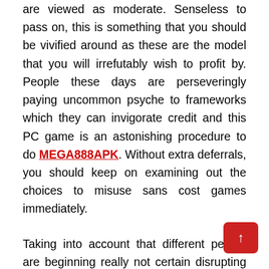are viewed as moderate. Senseless to pass on, this is something that you should be vivified around as these are the model that you will irrefutably wish to profit by. People these days are perseveringly paying uncommon psyche to frameworks which they can invigorate credit and this PC game is an astonishing procedure to do MEGA888APK. Without extra deferrals, you should keep on examining out the choices to misuse sans cost games immediately.
Taking into account that different people are beginning really not certain disrupting on the web space betting games, it might show up investigating changed streets concerning these altogether free games is an attentive thing to go in for and in any case, beginning with this is genuine that online games are a most regarded PC game and they secure players from all calling, making